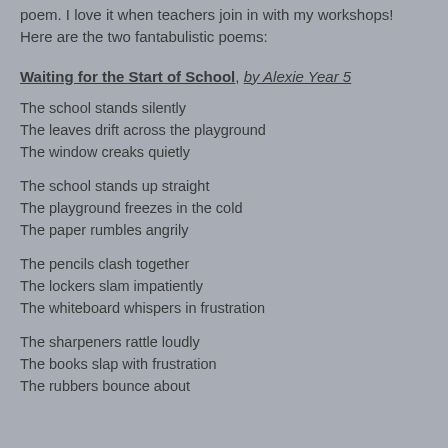poem. I love it when teachers join in with my workshops! Here are the two fantabulistic poems:
Waiting for the Start of School, by Alexie Year 5
The school stands silently
The leaves drift across the playground
The window creaks quietly
The school stands up straight
The playground freezes in the cold
The paper rumbles angrily
The pencils clash together
The lockers slam impatiently
The whiteboard whispers in frustration
The sharpeners rattle loudly
The books slap with frustration
The rubbers bounce about